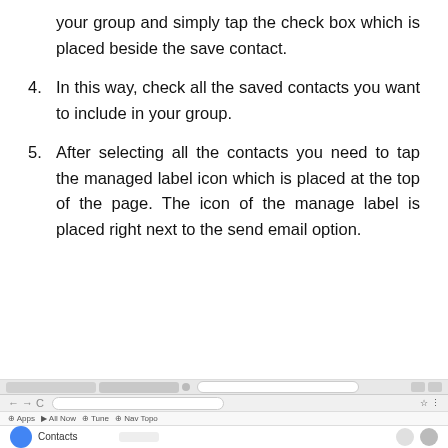your group and simply tap the check box which is placed beside the save contact.
4. In this way, check all the saved contacts you want to include in your group.
5. After selecting all the contacts you need to tap the managed label icon which is placed at the top of the page. The icon of the manage label is placed right next to the send email option.
[Figure (screenshot): Partial screenshot of a web browser showing the Google Contacts page with navigation bars, tabs, and the beginning of the Contacts interface.]